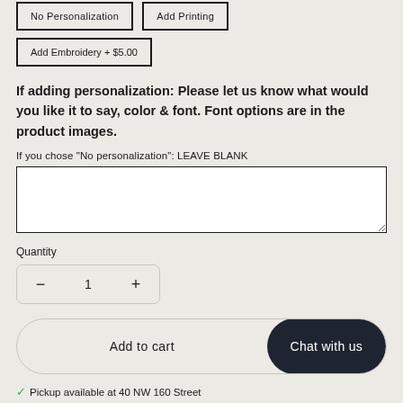No Personalization | Add Printing | Add Embroidery + $5.00
If adding personalization: Please let us know what would you like it to say, color & font. Font options are in the product images.
If you chose "No personalization": LEAVE BLANK
Quantity
1
Add to cart
Chat with us
Pickup available at 40 NW 160 Street